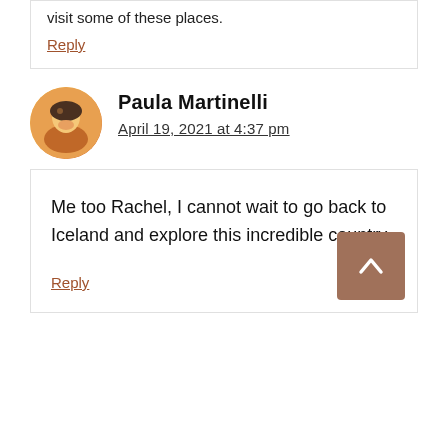visit some of these places.
Reply
Paula Martinelli
April 19, 2021 at 4:37 pm
Me too Rachel, I cannot wait to go back to Iceland and explore this incredible country.
Reply